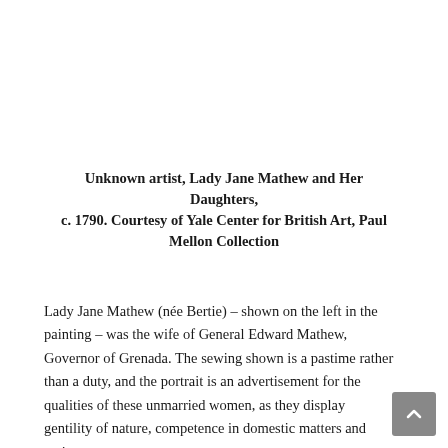Unknown artist, Lady Jane Mathew and Her Daughters, c. 1790. Courtesy of Yale Center for British Art, Paul Mellon Collection
Lady Jane Mathew (née Bertie) – shown on the left in the painting – was the wife of General Edward Mathew, Governor of Grenada. The sewing shown is a pastime rather than a duty, and the portrait is an advertisement for the qualities of these unmarried women, as they display gentility of nature, competence in domestic matters and patient